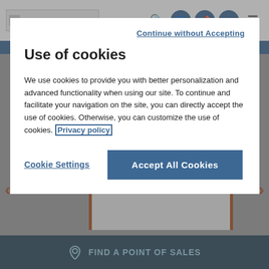[Figure (screenshot): Website background showing navigation bar with logo, search/user/location/mail/menu icons, blue band, gray content area with a product card showing HAIR category label and text about anti-hair loss treatments, left and right navigation arrows, and a dark blue bottom bar with FIND A POINT OF SALES text.]
Continue without Accepting
Use of cookies
We use cookies to provide you with better personalization and advanced functionality when using our site. To continue and facilitate your navigation on the site, you can directly accept the use of cookies. Otherwise, you can customize the use of cookies. Privacy policy
Cookie Settings
Accept All Cookies
HAIR
To complement all anti-hair loss treatments. Strengthens and adds volume.
FIND A POINT OF SALES